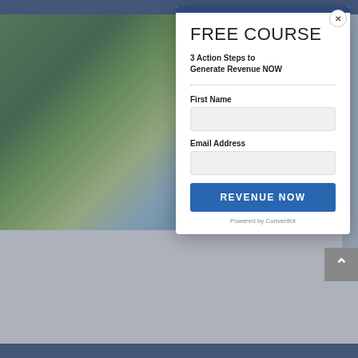FREE COURSE
3 Action Steps to Generate Revenue NOW
First Name
Email Address
REVENUE NOW
Powered by ConvertKit